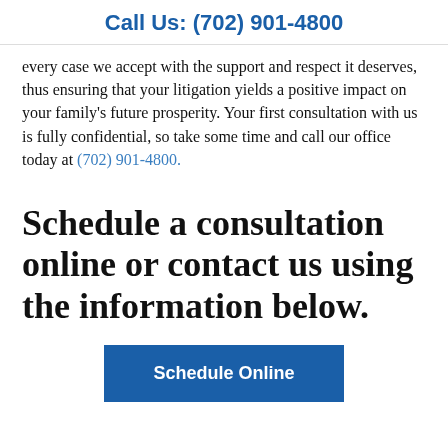Call Us: (702) 901-4800
every case we accept with the support and respect it deserves, thus ensuring that your litigation yields a positive impact on your family's future prosperity. Your first consultation with us is fully confidential, so take some time and call our office today at (702) 901-4800.
Schedule a consultation online or contact us using the information below.
Schedule Online